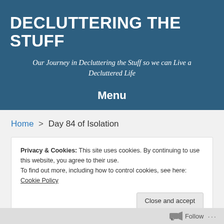DECLUTTERING THE STUFF
Our Journey in Decluttering the Stuff so we can Live a Decluttered Life
Menu
Home > Day 84 of Isolation
Privacy & Cookies: This site uses cookies. By continuing to use this website, you agree to their use.
To find out more, including how to control cookies, see here: Cookie Policy
Close and accept
Follow